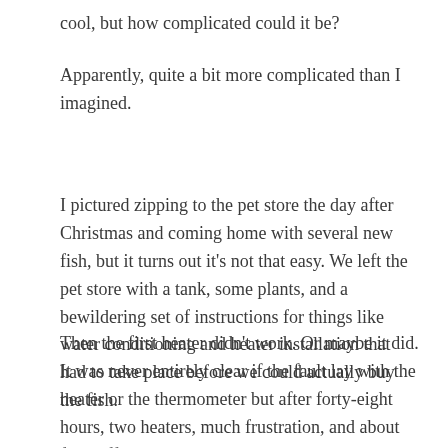cool, but how complicated could it be?
Apparently, quite a bit more complicated than I imagined.
I pictured zipping to the pet store the day after Christmas and coming home with several new fish, but it turns out it's not that easy. We left the pet store with a tank, some plants, and a bewildering set of instructions for things like water conditioning and heater installation that had to take place before we could actually buy the fish.
Then the first heater didn't work. Or maybe it did. It was never entirely clear if the fault lay with the heater or the thermometer but after forty-eight hours, two heaters, much frustration, and about five different thermometers, we decided to roll the dice and buy a single fish. If it survived its introduction to the tank, we'd go back for more. May the odds be ever in your favor, brave fish.